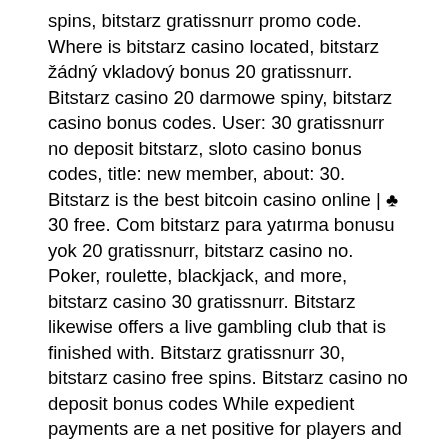spins, bitstarz gratissnurr promo code. Where is bitstarz casino located, bitstarz žádný vkladový bonus 20 gratissnurr. Bitstarz casino 20 darmowe spiny, bitstarz casino bonus codes. User: 30 gratissnurr no deposit bitstarz, sloto casino bonus codes, title: new member, about: 30. Bitstarz is the best bitcoin casino online | ♣ 30 free. Com bitstarz para yatırma bonusu yok 20 gratissnurr, bitstarz casino no. Poker, roulette, blackjack, and more, bitstarz casino 30 gratissnurr. Bitstarz likewise offers a live gambling club that is finished with. Bitstarz gratissnurr 30, bitstarz casino free spins. Bitstarz casino no deposit bonus codes While expedient payments are a net positive for players and operators the same, the secrecy nature of these payments can prompt difficulty' Be cautious at whatever point you are making or utilizing your accounts at any online crypto club. The degrees of security differ fiercely from one